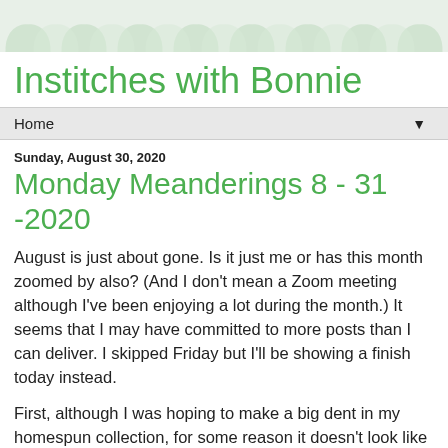[Figure (illustration): Decorative blog header banner with light green leaf/petal pattern on white background]
Institches with Bonnie
Home ▼
Sunday, August 30, 2020
Monday Meanderings 8 - 31 -2020
August is just about gone. Is it just me or has this month zoomed by also?  (And I don't mean a Zoom meeting although I've been enjoying a lot during the month.)  It seems that I may have committed to more posts than I can deliver.  I skipped Friday but I'll be showing a finish today instead.
First, although I was hoping to make a big dent in my homespun collection, for some reason it doesn't look like all that much has been used. I spent part of a Zoom  get together refolding what is left.  It was completely full to the top before. Hum,  there is quite a bit left still. Maybe I'll need to do another one, strips maybe 'cause I have lots of smaller pieces left.